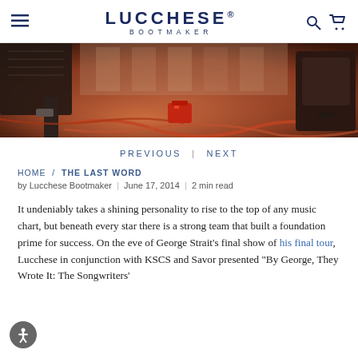LUCCHESE® BOOTMAKER
[Figure (photo): A blurred backstage/stage photo showing audio equipment, speaker monitors, cables on the floor, with warm reddish-orange lighting]
PREVIOUS | NEXT
HOME / THE LAST WORD
by Lucchese Bootmaker | June 17, 2014 | 2 min read
It undeniably takes a shining personality to rise to the top of any music chart, but beneath every star there is a strong team that built a foundation prime for success. On the eve of George Strait's final show of his final tour, Lucchese in conjunction with KSCS and Savor presented "By George, They Wrote It: The Songwriters'